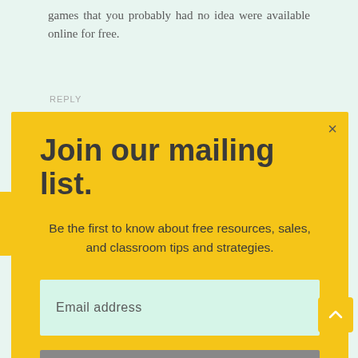games that you probably had no idea were available online for free.
REPLY
Join our mailing list.
Be the first to know about free resources, sales, and classroom tips and strategies.
Email address
Subscribe
Excellent info! I'm also an expert in this ... I can understand your effort very well. ... for the huge help. 🙏🙏🙏🙏🙏